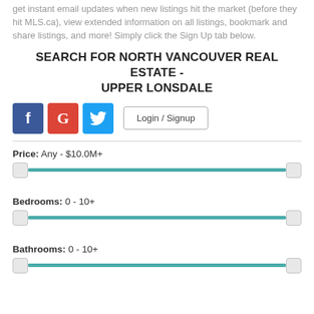get instant email updates when new listings hit the market (before they hit MLS.ca), view extended information on all listings, bookmark and share listings, and more! Simply click the Sign Up tab below.
SEARCH FOR NORTH VANCOUVER REAL ESTATE - UPPER LONSDALE
[Figure (other): Social login buttons: Facebook (blue), Google (red), Twitter (blue), and a Login / Signup button]
Price: Any - $10.0M+
[Figure (other): Price range slider from Any to $10.0M+]
Bedrooms: 0 - 10+
[Figure (other): Bedrooms range slider from 0 to 10+]
Bathrooms: 0 - 10+
[Figure (other): Bathrooms range slider from 0 to 10+]